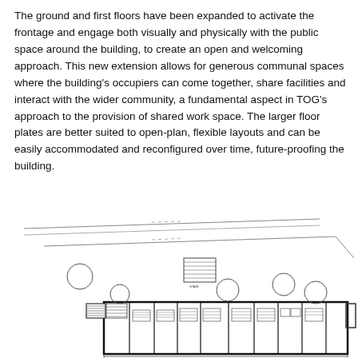The ground and first floors have been expanded to activate the frontage and engage both visually and physically with the public space around the building, to create an open and welcoming approach. This new extension allows for generous communal spaces where the building's occupiers can come together, share facilities and interact with the wider community, a fundamental aspect in TOG's approach to the provision of shared work space. The larger floor plates are better suited to open-plan, flexible layouts and can be easily accommodated and reconfigured over time, future-proofing the building.
[Figure (engineering-diagram): Architectural floor plan showing the ground floor layout of a building with multiple rooms, trees/circles outside, stairs, and various interior elements indicated by hatching and symbols.]